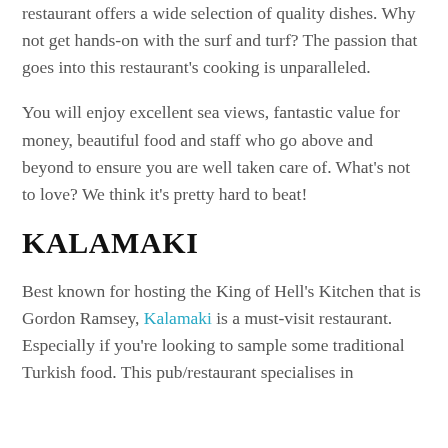restaurant offers a wide selection of quality dishes. Why not get hands-on with the surf and turf? The passion that goes into this restaurant's cooking is unparalleled.
You will enjoy excellent sea views, fantastic value for money, beautiful food and staff who go above and beyond to ensure you are well taken care of. What's not to love? We think it's pretty hard to beat!
KALAMAKI
Best known for hosting the King of Hell's Kitchen that is Gordon Ramsey, Kalamaki is a must-visit restaurant. Especially if you're looking to sample some traditional Turkish food. This pub/restaurant specialises in